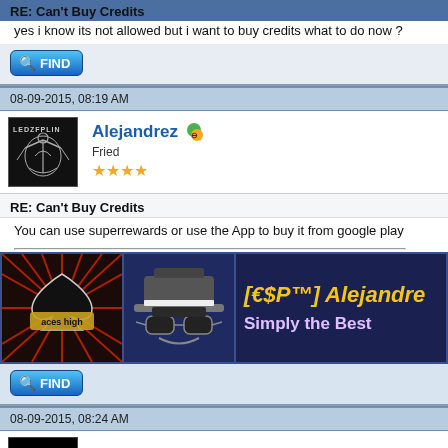RE: Can't Buy Credits
yes i know its not allowed but i want to buy credits what to do now ?
FIND
08-09-2015, 08:19 AM
Alejandrez  Fried ★★★★
RE: Can't Buy Credits
You can use superrewards or use the App to buy it from google play
[Figure (infographic): Signature banner with 'aces high' logo, hat/glasses avatar, and text '[€$P™] Alejandre... Simply the Best' on dark blue background]
FIND
08-09-2015, 08:24 AM
Isn't It A Pity?